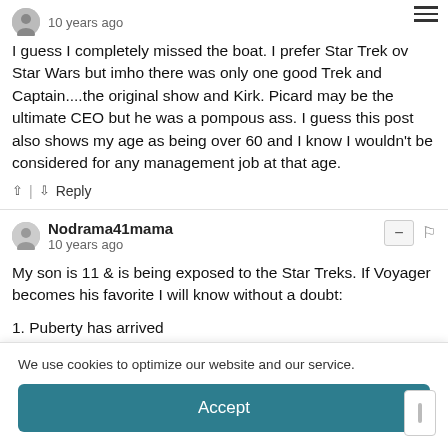10 years ago
I guess I completely missed the boat. I prefer Star Trek over Star Wars but imho there was only one good Trek and Captain....the original show and Kirk. Picard may be the ultimate CEO but he was a pompous ass. I guess this post also shows my age as being over 60 and I know I wouldn't be considered for any management job at that age.
Reply
Nodrama41mama
10 years ago
My son is 11 & is being exposed to the Star Treks. If Voyager becomes his favorite I will know without a doubt:
1. Puberty has arrived
We use cookies to optimize our website and our service.
Accept